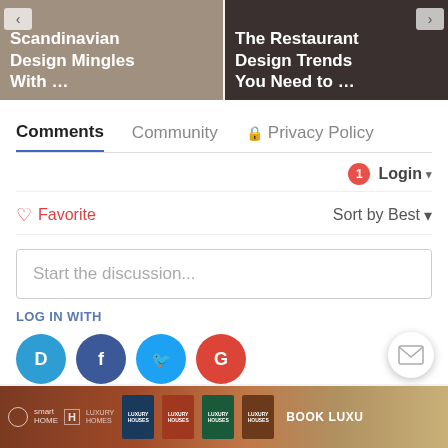[Figure (screenshot): Two article thumbnail cards: left card shows 'Scandinavian Design Mingles With ...' with a room interior background, right card shows 'The Restaurant Design Trends You Need to ...' with a dark restaurant interior background]
Comments	Community	🔒 Privacy Policy
1 Login ▾
♡ Favorite	Sort by Best ▾
Start the discussion...
LOG IN WITH
[Figure (logo): Social login icons: Disqus (D, blue), Facebook (f, dark blue), Twitter (bird, light blue), Google (G, red)]
[Figure (screenshot): Bottom banner with reddish-brown background showing Luxury Houses book covers and 'BOOK LUXU...' text, with small logos on left]
[Figure (other): White circular mail/message button in bottom right]